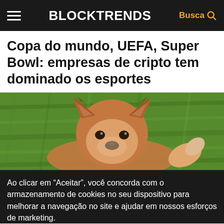BLOCKTRENDS
Copa do mundo, UEFA, Super Bowl: empresas de cripto tem dominado os esportes
[Figure (photo): A Shiba Inu dog lying on green grass, viewed from slightly above, looking at the camera.]
Ao clicar em “Aceitar”, você concorda com o armazenamento de cookies no seu dispositivo para melhorar a navegação no site e ajudar em nossos esforços de marketing.
Politica de Privacidade
Aceitar